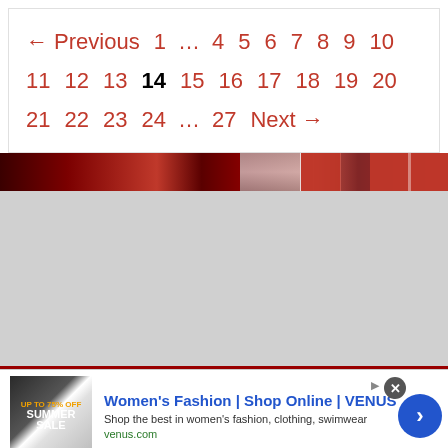← Previous 1 … 4 5 6 7 8 9 10 11 12 13 14 15 16 17 18 19 20 21 22 23 24 … 27 Next →
[Figure (photo): Dark red banner/divider image with partial view of a building or scene, red tones]
[Figure (photo): Large gray placeholder area, likely an advertisement or image that did not load]
[Figure (screenshot): Advertisement for Women's Fashion | Shop Online | VENUS. Shows a summer sale promotional image on the left, ad title, description 'Shop the best in women's fashion, clothing, swimwear', URL venus.com, a blue circular arrow button on the right, and an X close button.]